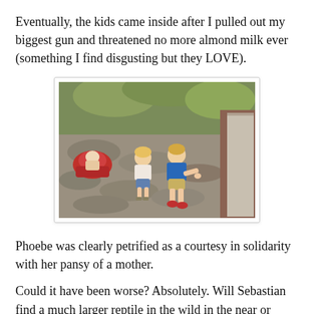Eventually, the kids came inside after I pulled out my biggest gun and threatened no more almond milk ever (something I find disgusting but they LOVE).
[Figure (photo): Two young children walking on a stone path toward an open door, with a baby in a car seat visible to the left and greenery in the background.]
Phoebe was clearly petrified as a courtesy in solidarity with her pansy of a mother.
Could it have been worse? Absolutely. Will Sebastian find a much larger reptile in the wild in the near or distant future and make it his own first not to know and love? Potentially.